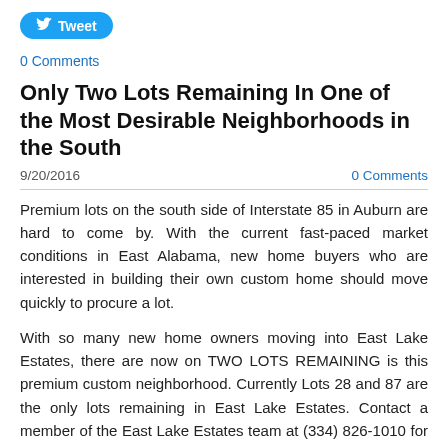[Figure (other): Twitter Tweet button (blue rounded rectangle with bird icon and 'Tweet' text)]
0 Comments
Only Two Lots Remaining In One of the Most Desirable Neighborhoods in the South
9/20/2016    0 Comments
Premium lots on the south side of Interstate 85 in Auburn are hard to come by. With the current fast-paced market conditions in East Alabama, new home buyers who are interested in building their own custom home should move quickly to procure a lot.
With so many new home owners moving into East Lake Estates, there are now on TWO LOTS REMAINING is this premium custom neighborhood. Currently Lots 28 and 87 are the only lots remaining in East Lake Estates. Contact a member of the East Lake Estates team at (334) 826-1010 for a personal tour of the remaining lots.